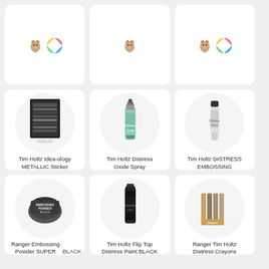[Figure (other): Grid of product cards for Tim Holtz and Ranger crafting supplies, arranged in 3 columns and 3 rows. Top row shows logo cards only. Middle row: Tim Holtz Idea-ology METALLIC Sticker Book th94134, Tim Holtz Distress Oxide Spray SPECKLED EGG Ranger tso72584, Tim Holtz DISTRESS EMBOSSING DABBER Ranger tda72485. Bottom row: Ranger Embossing Powder SUPER FINE BLACK, Tim Holtz Flip Top Distress Paint BLACK, Ranger Tim Holtz Distress Crayons.]